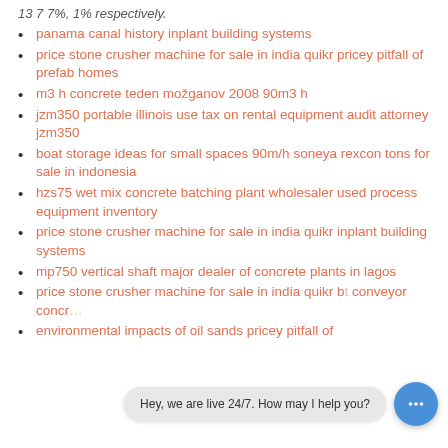13 7 7%, 1% respectively.
panama canal history inplant building systems
price stone crusher machine for sale in india quikr pricey pitfall of prefab homes
m3 h concrete teden možganov 2008 90m3 h
jzm350 portable illinois use tax on rental equipment audit attorney jzm350
boat storage ideas for small spaces 90m/h soneya rexcon tons for sale in indonesia
hzs75 wet mix concrete batching plant wholesaler used process equipment inventory
price stone crusher machine for sale in india quikr inplant building systems
mp750 vertical shaft major dealer of concrete plants in lagos
price stone crusher machine for sale in india quikr bt conveyor concr
environmental impacts of oil sands pricey pitfall of